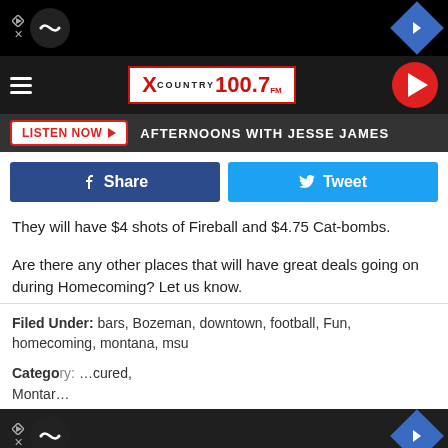[Figure (screenshot): Ad bar with infinity logo circle and arrow icon on black background]
[Figure (logo): X Country 100.7 FM radio station header banner with hamburger menu and play button]
[Figure (screenshot): Listen Now button bar with text AFTERNOONS WITH JESSE JAMES]
[Figure (screenshot): Facebook Share and Twitter Tweet buttons]
They will have $4 shots of Fireball and $4.75 Cat-bombs.
Are there any other places that will have great deals going on during Homecoming? Let us know.
Filed Under: bars, Bozeman, downtown, football, Fun, homecoming, montana, msu
Category: ...cured, Montana...
[Figure (screenshot): Bottom ad bar with infinity logo and arrow icon]